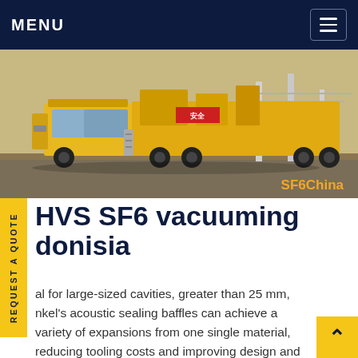MENU
[Figure (photo): Yellow utility/vacuum truck parked outdoors at an electrical substation with metal framework visible in background. Watermark text 'SF6China' in orange at bottom right.]
HVS SF6 vacuuming donisia
al for large-sized cavities, greater than 25 mm, nkel's acoustic sealing baffles can achieve a variety of expansions from one single material, reducing tooling costs and improving design and manufacturing flexibility. Future Acoustic Sealing Baffles will both simplify and expand on the